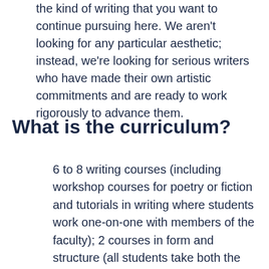the kind of writing that you want to continue pursuing here. We aren't looking for any particular aesthetic; instead, we're looking for serious writers who have made their own artistic commitments and are ready to work rigorously to advance them.
What is the curriculum?
6 to 8 writing courses (including workshop courses for poetry or fiction and tutorials in writing where students work one-on-one with members of the faculty); 2 courses in form and structure (all students take both the Structure of Fiction and the Structure of Verse); 2 elective academic courses (English courses or other graduate level courses offered by the College of Arts and Sciences); and a final thesis. A minimum